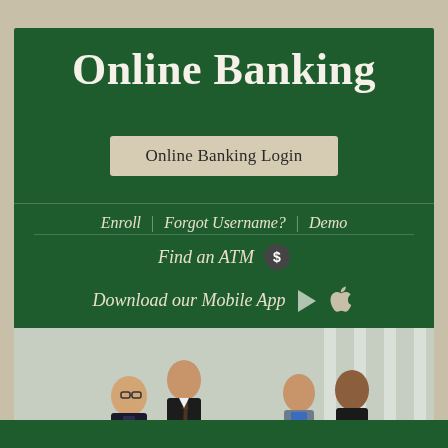Online Banking
Online Banking Login
Enroll | Forgot Username? | Demo
Find an ATM $
Download our Mobile App
[Figure (photo): Four business professionals in two pairs reviewing documents and using mobile devices in a bright office setting]